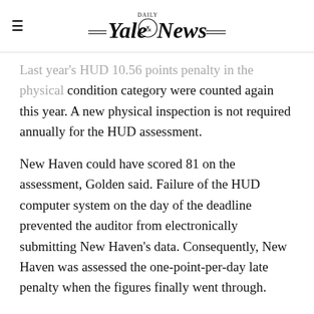Yale Daily News
Last year's HUD 10.56 points penalty in the physical condition category were counted again this year. A new physical inspection is not required annually for the HUD assessment.
New Haven could have scored 81 on the assessment, Golden said. Failure of the HUD computer system on the day of the deadline prevented the auditor from electronically submitting New Haven's data. Consequently, New Haven was assessed the one-point-per-day late penalty when the figures finally went through.
“HUD didn’t care whether we could or couldn’t submit it,” Golden said.